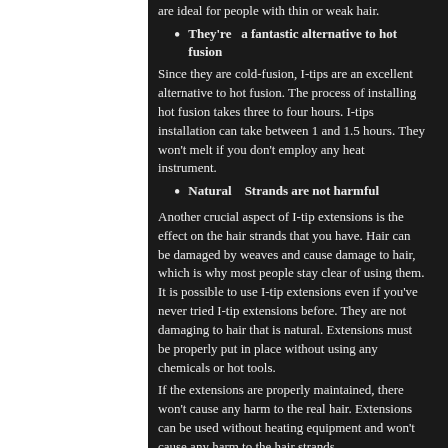are ideal for people with thin or weak hair.
They're a fantastic alternative to hot fusion
Since they are cold-fusion, I-tips are an excellent alternative to hot fusion. The process of installing hot fusion takes three to four hours. I-tips installation can take between 1 and 1.5 hours. They won't melt if you don't employ any heat instrument.
Natural Strands are not harmful
Another crucial aspect of I-tip extensions is the effect on the hair strands that you have. Hair can be damaged by weaves and cause damage to hair, which is why most people stay clear of using them. It is possible to use I-tip extensions even if you've never tried I-tip extensions before. They are not damaging to hair that is natural. Extensions must be properly put in place without using any chemicals or hot tools.
If the extensions are properly maintained, there won't cause any harm to the real hair. Extensions can be used without heating equipment and won't cause any harm to the hair strands.
The drawbacks of extensions for I-tips